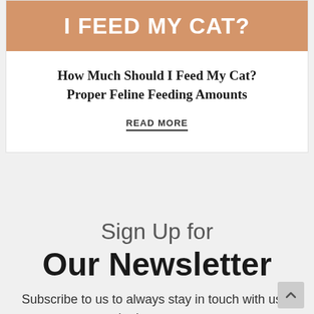[Figure (illustration): Orange/tan banner with bold white text reading 'I FEED MY CAT?' — appears to be a cropped article thumbnail image]
How Much Should I Feed My Cat? Proper Feline Feeding Amounts
READ MORE
Sign Up for Our Newsletter
Subscribe to us to always stay in touch with us and the latest news about Bone & Yarn and all of our activities